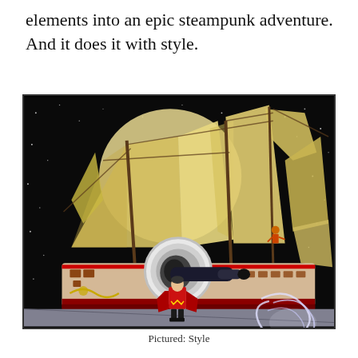elements into an epic steampunk adventure. And it does it with style.
[Figure (illustration): A steampunk airship with large golden sails and a prominent black cannon/engine mounted on the hull, flying against a black starry background. A figure in red stands below on a grey surface, and a glowing energy effect is visible to the right. A character with red hair is visible on the rigging.]
Pictured: Style